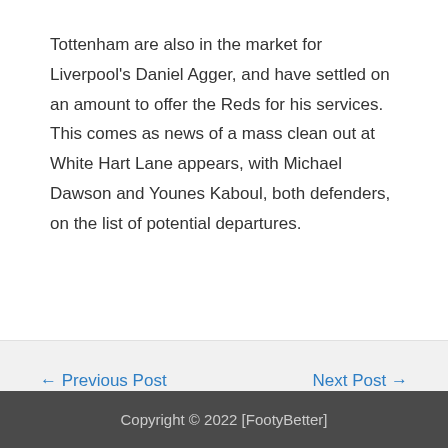Tottenham are also in the market for Liverpool's Daniel Agger, and have settled on an amount to offer the Reds for his services. This comes as news of a mass clean out at White Hart Lane appears, with Michael Dawson and Younes Kaboul, both defenders, on the list of potential departures.
← Previous Post
Next Post →
Copyright © 2022 [FootyBetter]